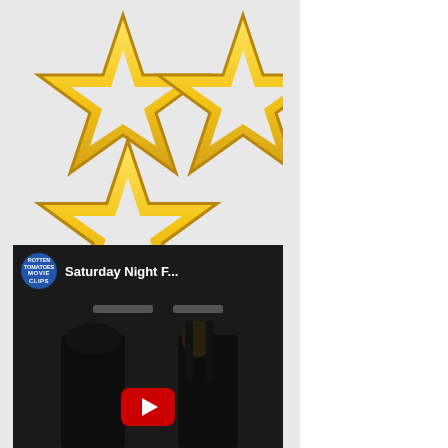[Figure (illustration): Three gold star rating icons arranged: two large stars on top row and one large star below, all outlined gold stars (partially empty/outline style indicating a rating of about 2.5 out of 3 or similar), displayed on a light gray background.]
[Figure (screenshot): Embedded YouTube video thumbnail from Rotten Tomatoes Movie Clips channel. Title shows 'Saturday Night F...' (truncated). Video shows a dark scene with two figures facing each other, with a red YouTube play button overlay at the bottom center.]